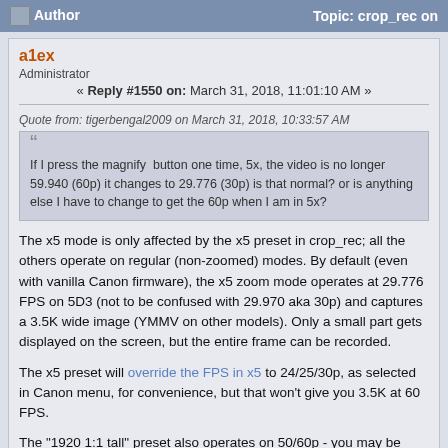Author   Topic: crop_rec on
a1ex
Administrator
« Reply #1550 on: March 31, 2018, 11:01:10 AM »
Quote from: tigerbengal2009 on March 31, 2018, 10:33:57 AM
If I press the magnify button one time, 5x, the video is no longer 59.940 (60p) it changes to 29.776 (30p) is that normal? or is anything else I have to change to get the 60p when I am in 5x?
The x5 mode is only affected by the x5 preset in crop_rec; all the others operate on regular (non-zoomed) modes. By default (even with vanilla Canon firmware), the x5 zoom mode operates at 29.776 FPS on 5D3 (not to be confused with 29.970 aka 30p) and captures a 3.5K wide image (YMMV on other models). Only a small part gets displayed on the screen, but the entire frame can be recorded.
The x5 preset will override the FPS in x5 to 24/25/30p, as selected in Canon menu, for convenience, but that won't give you 3.5K at 60 FPS.
The "1920 1:1 tall" preset also operates on 50/60p - you may be looking for that.
Logged